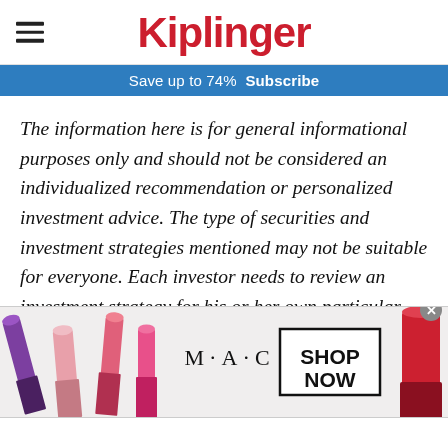Kiplinger
Save up to 74%  Subscribe
The information here is for general informational purposes only and should not be considered an individualized recommendation or personalized investment advice. The type of securities and investment strategies mentioned may not be suitable for everyone. Each investor needs to review an investment strategy for his or her own particular situation before making any investment decision.
[Figure (photo): MAC Cosmetics advertisement banner showing colorful lipsticks on the left and right sides, MAC logo in center, and a 'SHOP NOW' button in a black-bordered box. A close (x) button appears in the top-right corner.]